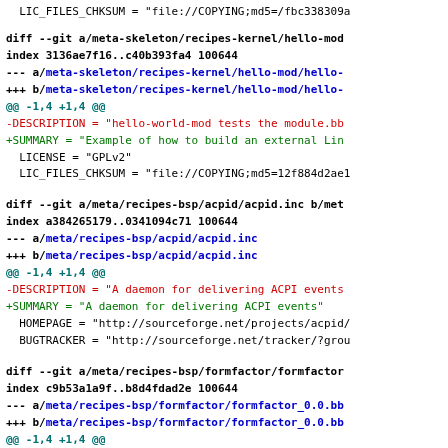LIC_FILES_CHKSUM = "file://COPYING;md5=/fbc338309a
diff --git a/meta-skeleton/recipes-kernel/hello-mod ...
index 3136ae7f16..c40b393fa4 100644
--- a/meta-skeleton/recipes-kernel/hello-mod/hello-
+++ b/meta-skeleton/recipes-kernel/hello-mod/hello-
@@ -1,4 +1,4 @@
-DESCRIPTION = "hello-world-mod tests the module.bb
+SUMMARY = "Example of how to build an external Lin
 LICENSE = "GPLv2"
 LIC_FILES_CHKSUM = "file://COPYING;md5=12f884d2ae1
diff --git a/meta/recipes-bsp/acpid/acpid.inc b/met
index a384265179..0341094c71 100644
--- a/meta/recipes-bsp/acpid/acpid.inc
+++ b/meta/recipes-bsp/acpid/acpid.inc
@@ -1,4 +1,4 @@
-DESCRIPTION = "A daemon for delivering ACPI events
+SUMMARY = "A daemon for delivering ACPI events"
 HOMEPAGE = "http://sourceforge.net/projects/acpid/
 BUGTRACKER = "http://sourceforge.net/tracker/?grou
diff --git a/meta/recipes-bsp/formfactor/formfactor
index c9b53a1a9f..b8d4fdad2e 100644
--- a/meta/recipes-bsp/formfactor/formfactor_0.0.bb
+++ b/meta/recipes-bsp/formfactor/formfactor_0.0.bb
@@ -1,4 +1,4 @@
-DESCRIPTION = "Device formfactor information"
+SUMMARY = "Device formfactor information"